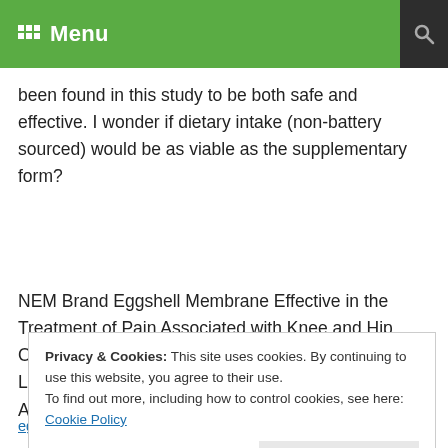Menu
been found in this study to be both safe and effective. I wonder if dietary intake (non-battery sourced) would be as viable as the supplementary form?
NEM Brand Eggshell Membrane Effective in the Treatment of Pain Associated with Knee and Hip Osteoarthritis: Results from a Six Center, Open Label German Clinical Study Danesch et al., J Arthritis 2014, 3:3
Privacy & Cookies: This site uses cookies. By continuing to use this website, you agree to their use.
To find out more, including how to control cookies, see here: Cookie Policy
Close and accept
eggshell-membrane-effective-in-the-treatment-of-